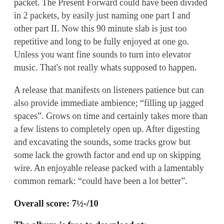packet. The Present Forward could have been divided in 2 packets, by easily just naming one part I and other part II. Now this 90 minute slab is just too repetitive and long to be fully enjoyed at one go. Unless you want fine sounds to turn into elevator music. That's not really whats supposed to happen.
A release that manifests on listeners patience but can also provide immediate ambience; "filling up jagged spaces". Grows on time and certainly takes more than a few listens to completely open up. After digesting and excavating the sounds, some tracks grow but some lack the growth factor and end up on skipping wire. An enjoyable release packed with a lamentably common remark: "could have been a lot better".
Overall score: 7½-/10
The album is free to download at:
http://archive.org/details/siro229HuCreix-ThePresentForwardsironaEdition